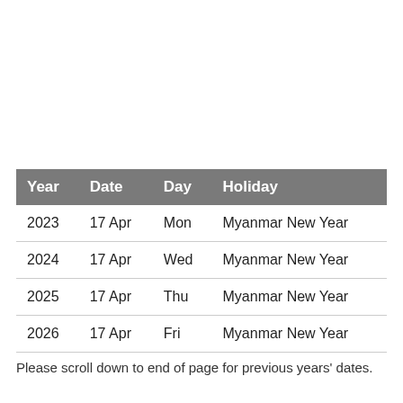| Year | Date | Day | Holiday |
| --- | --- | --- | --- |
| 2023 | 17 Apr | Mon | Myanmar New Year |
| 2024 | 17 Apr | Wed | Myanmar New Year |
| 2025 | 17 Apr | Thu | Myanmar New Year |
| 2026 | 17 Apr | Fri | Myanmar New Year |
Please scroll down to end of page for previous years' dates.